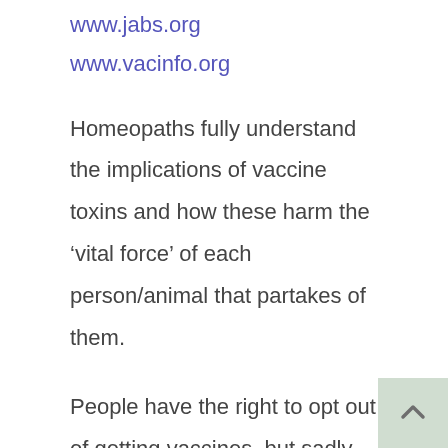www.jabs.org
www.vacinfo.org
Homeopaths fully understand the implications of vaccine toxins and how these harm the ‘vital force’ of each person/animal that partakes of them.
People have the right to opt out of getting vaccines, but sadly many parents don’t know this.
If you are in the U.S., here’s a link where